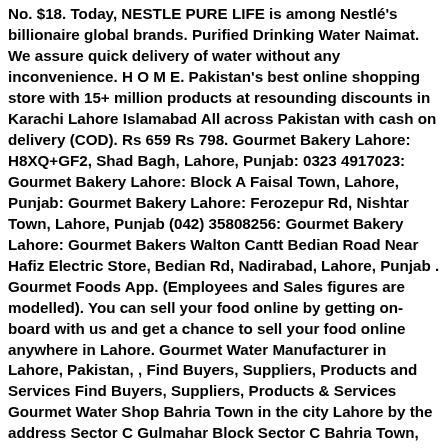No. $18. Today, NESTLE PURE LIFE is among Nestlé's billionaire global brands. Purified Drinking Water Naimat. We assure quick delivery of water without any inconvenience. H O M E. Pakistan's best online shopping store with 15+ million products at resounding discounts in Karachi Lahore Islamabad All across Pakistan with cash on delivery (COD). Rs 659 Rs 798. Gourmet Bakery Lahore: H8XQ+GF2, Shad Bagh, Lahore, Punjab: 0323 4917023: Gourmet Bakery Lahore: Block A Faisal Town, Lahore, Punjab: Gourmet Bakery Lahore: Ferozepur Rd, Nishtar Town, Lahore, Punjab (042) 35808256: Gourmet Bakery Lahore: Gourmet Bakers Walton Cantt Bedian Road Near Hafiz Electric Store, Bedian Rd, Nadirabad, Lahore, Punjab . Gourmet Foods App. (Employees and Sales figures are modelled). You can sell your food online by getting on-board with us and get a chance to sell your food online anywhere in Lahore. Gourmet Water Manufacturer in Lahore, Pakistan, , Find Buyers, Suppliers, Products and Services Find Buyers, Suppliers, Products & Services Gourmet Water Shop Bahria Town in the city Lahore by the address Sector C Gulmahar Block Sector C Bahria Town, Lahore, Punjab 53720, Pakistan Products / Services Bottled Mineral Water, Mineral Water Delivery Company, Mineral Water Plant, Mineral Water Refilling / Supplier, Mineral Water, Pure Drinking Water, Mineral Water in Bottles, Sufi Finest Drinking Water - Lahore +92-313-4308118 Awan town, Multan